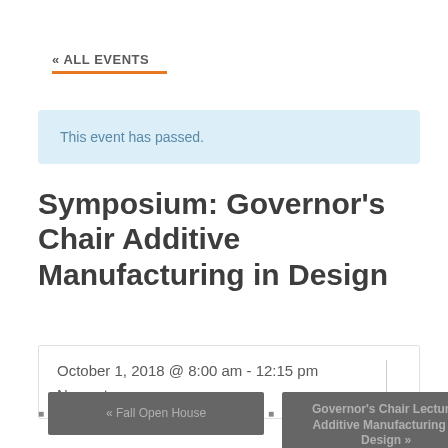« ALL EVENTS
This event has passed.
Symposium: Governor's Chair Additive Manufacturing in Design
October 1, 2018 @ 8:00 am - 12:15 pm
No cost
« Fall Open House
Governor's Chair Lecture: Additive Manufacturing in Design »